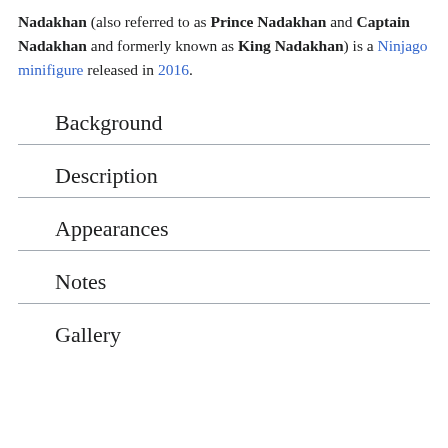Nadakhan (also referred to as Prince Nadakhan and Captain Nadakhan and formerly known as King Nadakhan) is a Ninjago minifigure released in 2016.
Background
Description
Appearances
Notes
Gallery